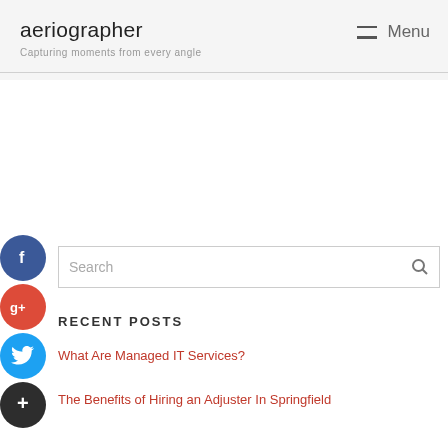aeriographer
Capturing moments from every angle
Menu
[Figure (illustration): Search bar with magnifying glass icon]
[Figure (illustration): Social media buttons: Facebook (blue circle with f), Google Plus (red circle with g+), Twitter (blue circle with bird), Plus (dark circle with +)]
RECENT POSTS
What Are Managed IT Services?
The Benefits of Hiring an Adjuster In Springfield